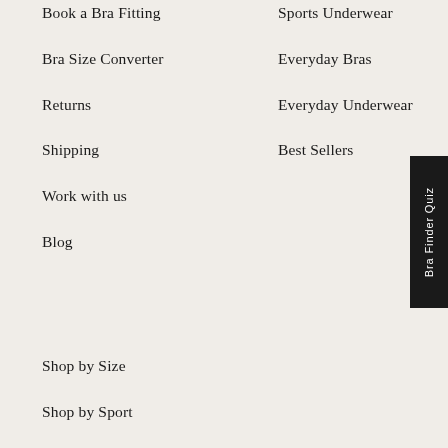Book a Bra Fitting
Bra Size Converter
Returns
Shipping
Work with us
Blog
Sports Underwear
Everyday Bras
Everyday Underwear
Best Sellers
Shop by Size
Shop by Sport
Shop by Brand
Sale
Bra Finder Quiz